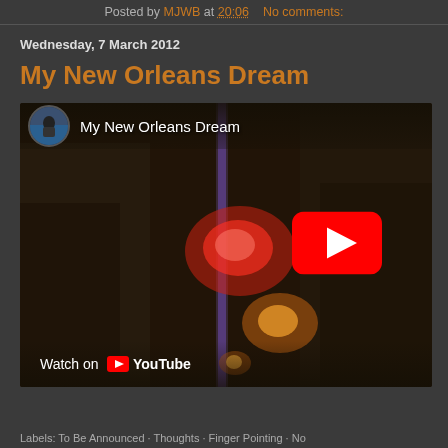Posted by MJWB at 20:06   No comments:
Wednesday, 7 March 2012
My New Orleans Dream
[Figure (screenshot): YouTube video thumbnail embed for 'My New Orleans Dream' showing a night street scene with blurred lights, a red glow, and a YouTube play button overlay. Channel avatar shown top-left with video title. 'Watch on YouTube' shown at bottom.]
Labels: To Be Announced · Thoughts · Finger Pointing · No